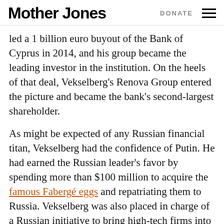Mother Jones | DONATE
led a 1 billion euro buyout of the Bank of Cyprus in 2014, and his group became the leading investor in the institution. On the heels of that deal, Vekselberg's Renova Group entered the picture and became the bank's second-largest shareholder.
As might be expected of any Russian financial titan, Vekselberg had the confidence of Putin. He had earned the Russian leader's favor by spending more than $100 million to acquire the famous Fabergé eggs and repatriating them to Russia. Vekselberg was also placed in charge of a Russian initiative to bring high-tech firms into the country. So here was Ross in bed with a Russian oligarch, both of them looking to make big bucks by taking over a bank